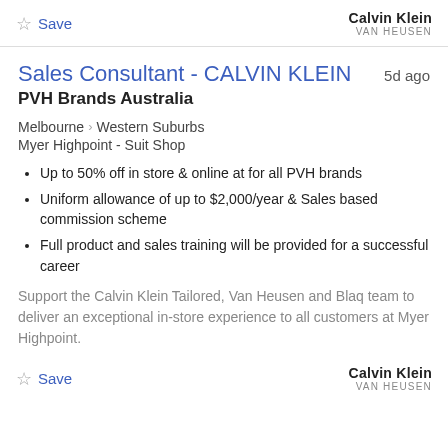[Figure (logo): Calvin Klein VAN HEUSEN logo top right]
☆ Save
Sales Consultant - CALVIN KLEIN
5d ago
PVH Brands Australia
Melbourne > Western Suburbs
Myer Highpoint - Suit Shop
Up to 50% off in store & online at for all PVH brands
Uniform allowance of up to $2,000/year & Sales based commission scheme
Full product and sales training will be provided for a successful career
Support the Calvin Klein Tailored, Van Heusen and Blaq team to deliver an exceptional in-store experience to all customers at Myer Highpoint.
☆ Save
[Figure (logo): Calvin Klein VAN HEUSEN logo bottom right]